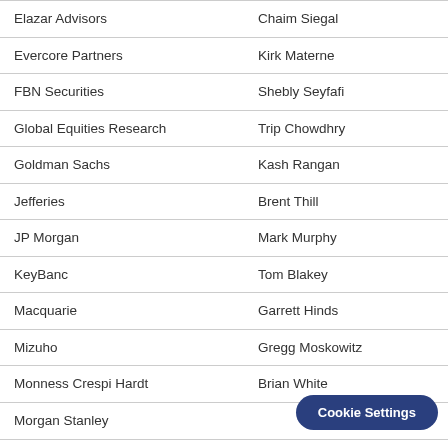|  |  |
| --- | --- |
| Elazar Advisors | Chaim Siegal |
| Evercore Partners | Kirk Materne |
| FBN Securities | Shebly Seyfafi |
| Global Equities Research | Trip Chowdhry |
| Goldman Sachs | Kash Rangan |
| Jefferies | Brent Thill |
| JP Morgan | Mark Murphy |
| KeyBanc | Tom Blakey |
| Macquarie | Garrett Hinds |
| Mizuho | Gregg Moskowitz |
| Monness Crespi Hardt | Brian White |
| Morgan Stanley |  |
| Morningstar |  |